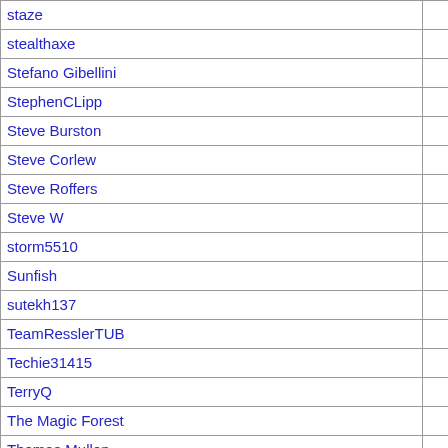| Name | Count |
| --- | --- |
| staze | 1 |
| stealthaxe | 1 |
| Stefano Gibellini | 1 |
| StephenCLipp | 1 |
| Steve Burston | 1 |
| Steve Corlew | 1 |
| Steve Roffers | 1 |
| Steve W | 1 |
| storm5510 | 1 |
| Sunfish | 1 |
| sutekh137 | 1 |
| TeamResslerTUB | 1 |
| Techie31415 | 1 |
| TerryQ | 1 |
| The Magic Forest | 1 |
| Thomas Mullen | 1 |
| TigerLi | 1 |
| TMarshall | 1 |
| Todd Walke | 1 |
| toferc | 1 |
| Tom Mueller | 1 |
| Ton van der Wouden | 1 |
| Tony Davies | 1 |